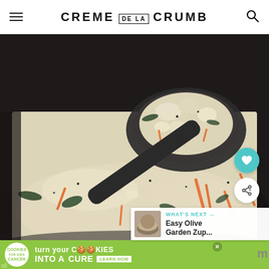CREME DE LA CRUMB
[Figure (photo): Close-up photo of a ladle scooping creamy white soup with gnocchi, spinach, carrots, and black pepper from a dark pot]
WHAT'S NEXT → Easy Olive Garden Zup...
[Figure (photo): Advertisement banner: cookies for kids cancer - turn your cookies into a CURE LEARN HOW]